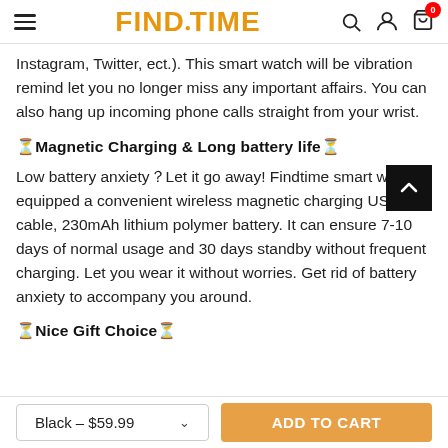FINDTIME logo, search, account, and cart icons
Instagram, Twitter, ect.). This smart watch will be vibration remind let you no longer miss any important affairs. You can also hang up incoming phone calls straight from your wrist.
⌚Magnetic Charging & Long battery life⌚
Low battery anxiety？Let it go away! Findtime smart watch equipped a convenient wireless magnetic charging USB cable, 230mAh lithium polymer battery. It can ensure 7-10 days of normal usage and 30 days standby without frequent charging. Let you wear it without worries. Get rid of battery anxiety to accompany you around.
⌚Nice Gift Choice⌚
Black – $59.99  ADD TO CART